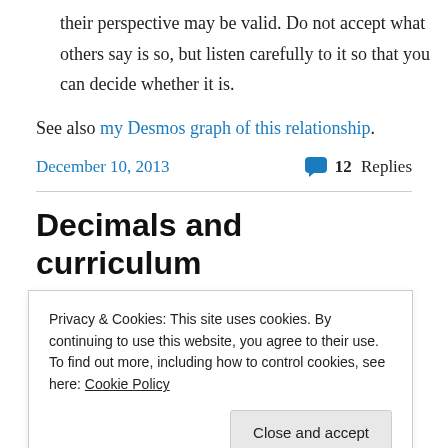their perspective may be valid. Do not accept what others say is so, but listen carefully to it so that you can decide whether it is.
See also my Desmos graph of this relationship.
December 10, 2013
12 Replies
Decimals and curriculum (Common Core) [TDI 6]
Privacy & Cookies: This site uses cookies. By continuing to use this website, you agree to their use. To find out more, including how to control cookies, see here: Cookie Policy
Close and accept
with a summary of what I have learned and an invitation to